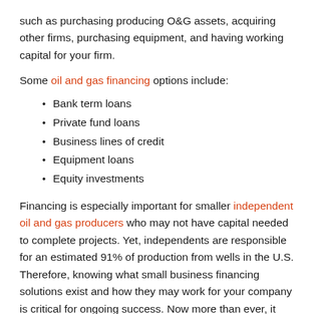such as purchasing producing O&G assets, acquiring other firms, purchasing equipment, and having working capital for your firm.
Some oil and gas financing options include:
Bank term loans
Private fund loans
Business lines of credit
Equipment loans
Equity investments
Financing is especially important for smaller independent oil and gas producers who may not have capital needed to complete projects. Yet, independents are responsible for an estimated 91% of production from wells in the U.S. Therefore, knowing what small business financing solutions exist and how they may work for your company is critical for ongoing success. Now more than ever, it helps to have an advisor on your team to guide you through these important financial